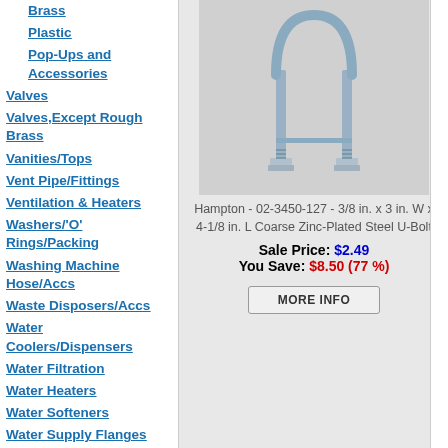Brass
Plastic
Pop-Ups and Accessories
Valves
Valves,Except Rough Brass
Vanities/Tops
Vent Pipe/Fittings
Ventilation & Heaters
Washers/'O' Rings/Packing
Washing Machine Hose/Accs
Waste Disposers/Accs
Water Coolers/Dispensers
Water Filtration
Water Heaters
Water Softeners
Water Supply Flanges
[Figure (photo): Hampton 3/8 in. x 3 in. W x 4-1/8 in. L Coarse Zinc-Plated Steel U-Bolt product photo]
Hampton - 02-3450-127 - 3/8 in. x 3 in. W x 4-1/8 in. L Coarse Zinc-Plated Steel U-Bolt
Sale Price: $2.49 You Save: $8.50 (77 %)